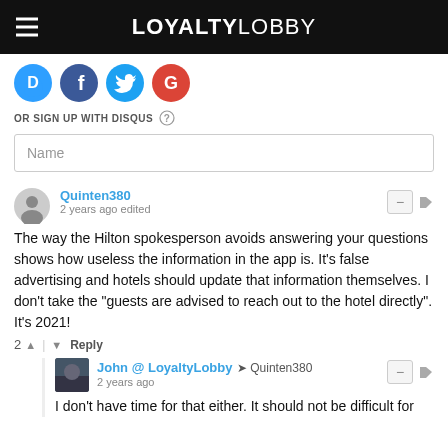LOYALTYLOBBY
[Figure (logo): Social login icons: Disqus (blue chat bubble with D), Facebook (dark blue circle with f), Twitter (light blue circle with bird), Google (red circle with G)]
OR SIGN UP WITH DISQUS
Name
Quinten380
2 years ago edited
The way the Hilton spokesperson avoids answering your questions shows how useless the information in the app is. It's false advertising and hotels should update that information themselves. I don't take the "guests are advised to reach out to the hotel directly". It's 2021!
2 | Reply
John @ LoyaltyLobby → Quinten380
2 years ago
I don't have time for that either. It should not be difficult for